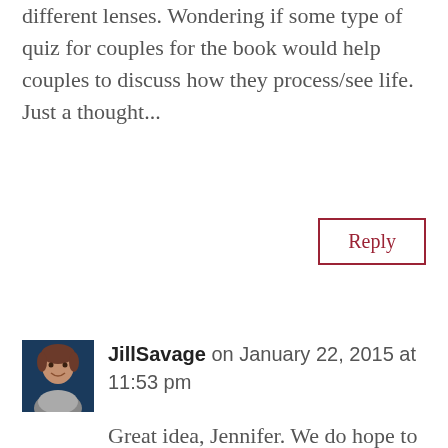different lenses. Wondering if some type of quiz for couples for the book would help couples to discuss how they process/see life. Just a thought...
Reply
JillSavage on January 22, 2015 at 11:53 pm
Great idea, Jennifer. We do hope to put that in the No More Perfect Marriages book. Much of how we've identified this much about ourselves has come from our marriage counseling as well as some reading we did. One book